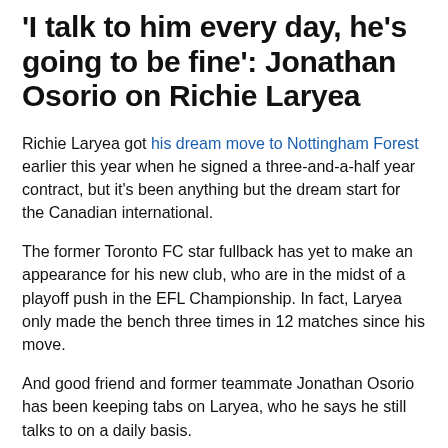'I talk to him every day, he's going to be fine': Jonathan Osorio on Richie Laryea
Richie Laryea got his dream move to Nottingham Forest earlier this year when he signed a three-and-a-half year contract, but it's been anything but the dream start for the Canadian international.
The former Toronto FC star fullback has yet to make an appearance for his new club, who are in the midst of a playoff push in the EFL Championship. In fact, Laryea only made the bench three times in 12 matches since his move.
And good friend and former teammate Jonathan Osorio has been keeping tabs on Laryea, who he says he still talks to on a daily basis.
“I’ve been in touch with him a lot, obviously seeing